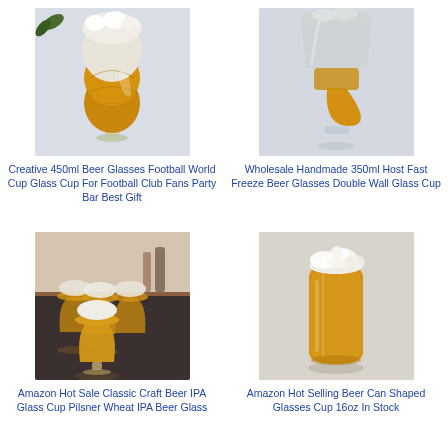[Figure (photo): A beer glass shaped like a football (soccer ball) with foam on top and amber beer inside, on white background.]
Creative 450ml Beer Glasses Football World Cup Glass Cup For Football Club Fans Party Bar Best Gift
[Figure (photo): An inverted double-wall beer glass with golden beer inside and frosted/icy top portion, on white background.]
Wholesale Handmade 350ml Host Fast Freeze Beer Glasses Double Wall Glass Cup
[Figure (photo): Multiple craft beer IPA glasses with foam tops arranged on a dark reflective surface with a bar/kitchen background.]
Amazon Hot Sale Classic Craft Beer IPA Glass Cup Pilsner Wheat IPA Beer Glass
[Figure (photo): A can-shaped beer glass filled with amber beer and white foam on top, on a plain light background.]
Amazon Hot Selling Beer Can Shaped Glasses Cup 16oz In Stock